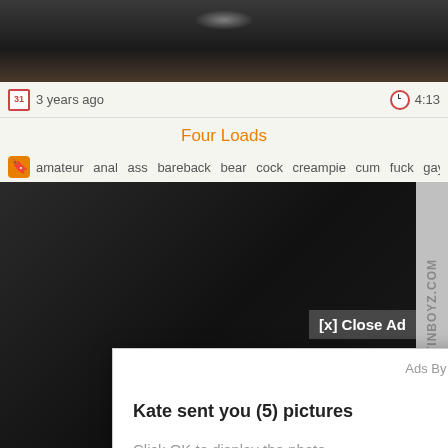[Figure (photo): Dark blurry close-up photo at top of page (video thumbnail)]
3 years ago   4:13
Four Loads
amateur  anal  ass  bareback  bear  cock  creampie  cum  fuck  gay  hairy  ha...
[Figure (screenshot): Ad popup overlay: 'Kate sent you (5) pictures / Click OK to display the photo' with Ok button, on video player background with [x] Close Ad button and LATINBOYZ.COM watermark]
Ads By ClickAdilla
Kate sent you (5) pictures
Click OK to display the photo
Ok
a1h